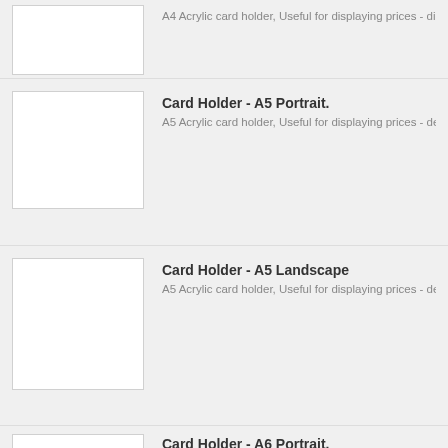[Figure (photo): Product image placeholder for A4 card holder (partially visible, white box)]
A4 Acrylic card holder, Useful for displaying prices - d
[Figure (photo): Product image placeholder for Card Holder A5 Portrait (white box)]
Card Holder - A5 Portrait.
A5 Acrylic card holder, Useful for displaying prices - de
[Figure (photo): Product image placeholder for Card Holder A5 Landscape (white box)]
Card Holder - A5 Landscape
A5 Acrylic card holder, Useful for displaying prices - de
[Figure (photo): Product image placeholder for Card Holder A6 Portrait (partially visible, white box)]
Card Holder - A6 Portrait.